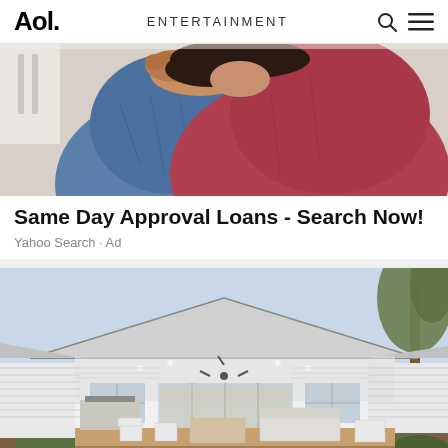Aol.  ENTERTAINMENT
[Figure (photo): Two people embracing, one wearing a blue denim shirt and the other a red/maroon long-sleeve shirt, photographed from shoulders down.]
Same Day Approval Loans - Search Now!
Yahoo Search · Ad
[Figure (photo): Exterior photo of a large white single-story house with a pitched roof, covered porch with ceiling fan, sliding glass doors opening to an outdoor deck with white furniture and a BBQ area. Trees visible at right.]